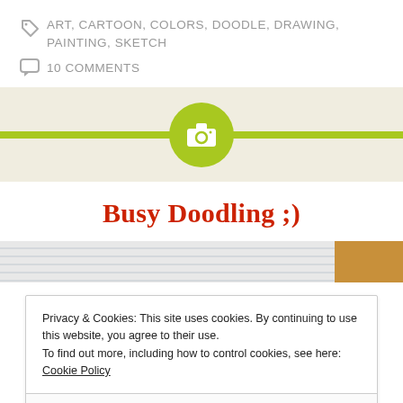ART, CARTOON, COLORS, DOODLE, DRAWING, PAINTING, SKETCH
10 COMMENTS
[Figure (other): Blog section divider with beige background, horizontal green line, and centered green circle with camera icon]
Busy Doodling ;)
[Figure (photo): Top edge of a notebook with lined paper and brown cover visible]
Privacy & Cookies: This site uses cookies. By continuing to use this website, you agree to their use. To find out more, including how to control cookies, see here: Cookie Policy
Close and accept